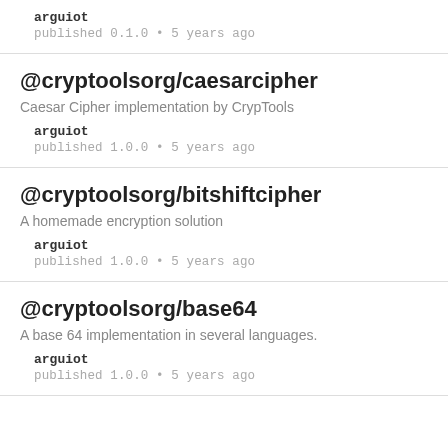arguiot
published 0.1.0 • 5 years ago
@cryptoolsorg/caesarcipher
Caesar Cipher implementation by CrypTools
arguiot
published 1.0.0 • 5 years ago
@cryptoolsorg/bitshiftcipher
A homemade encryption solution
arguiot
published 1.0.0 • 5 years ago
@cryptoolsorg/base64
A base 64 implementation in several languages.
arguiot
published 1.0.0 • 5 years ago